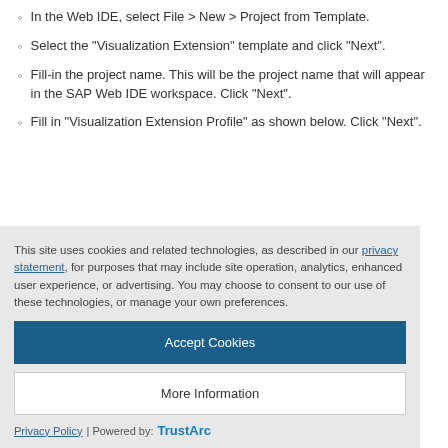In the Web IDE, select File > New > Project from Template.
Select the “Visualization Extension” template and click “Next”.
Fill-in the project name. This will be the project name that will appear in the SAP Web IDE workspace. Click “Next”.
Fill in “Visualization Extension Profile” as shown below. Click “Next”.
This site uses cookies and related technologies, as described in our privacy statement, for purposes that may include site operation, analytics, enhanced user experience, or advertising. You may choose to consent to our use of these technologies, or manage your own preferences.
Accept Cookies
More Information
Privacy Policy | Powered by: TrustArc